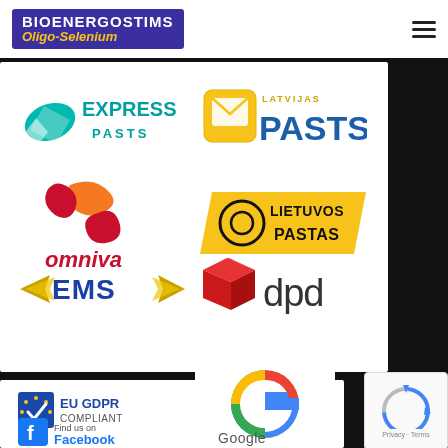[Figure (logo): BIOENERGOSTIMS Oligo-Selenium brand logo on purple background with gold italic text]
[Figure (logo): Express Pasts courier logo with teal/green leaf icon]
[Figure (logo): Latvijas Pasts postal service logo with yellow envelope icon]
[Figure (logo): Omniva courier logo with orange and red swirl]
[Figure (logo): Lietuvos Pastas Lithuanian postal service logo on yellow background]
[Figure (logo): EMS express mail service logo]
[Figure (logo): DPD courier service logo with red 3D box icon]
[Figure (logo): EU GDPR Compliant badge with EU stars and checkmark]
[Figure (logo): Find us on Facebook badge]
[Figure (logo): Google logo]
[Figure (logo): reCAPTCHA badge with Privacy and Terms links]